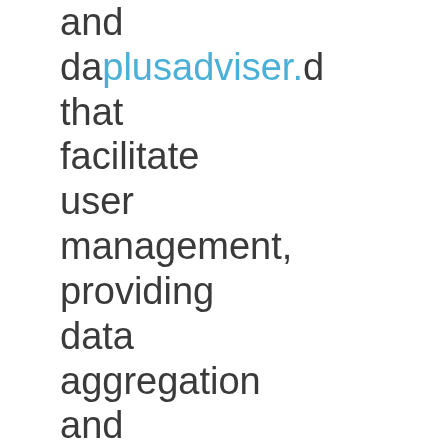and dashboard that facilitate user management, providing data aggregation and reporting; compliance notifications; book-of-business analysis; and a